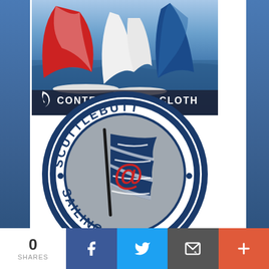[Figure (photo): Contender Sailcloth advertisement showing sailing boats racing on blue water with red and white spinnakers, with the Contender Sailcloth logo and crescent moon icon in white text at bottom]
[Figure (logo): Scuttlebutt Sailing Club circular logo with dark blue ring border text reading SCUTTLEBUTT at top and SAILING CLUB at bottom, gray circle interior with blue flag containing horizontal stripes and red @ symbol, with decorative dots]
0 SHARES | Facebook | Twitter | Email | More